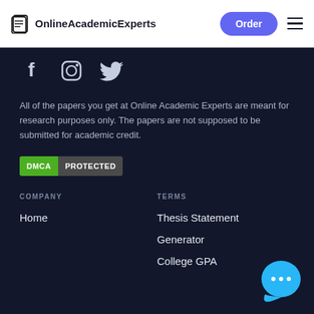OnlineAcademicExperts | Order
[Figure (logo): OnlineAcademicExperts logo with document icon and site name, plus Order button and hamburger menu in header]
[Figure (illustration): Social media icons: Facebook, Instagram, Twitter on dark background]
All of the papers you get at Online Academic Experts are meant for research purposes only. The papers are not supposed to be submitted for academic credit.
[Figure (other): DMCA PROTECTED badge - green left panel with DMCA, grey right panel with PROTECTED]
COMPANY
TERMS
Home
Thesis Statement
Generator
College GPA